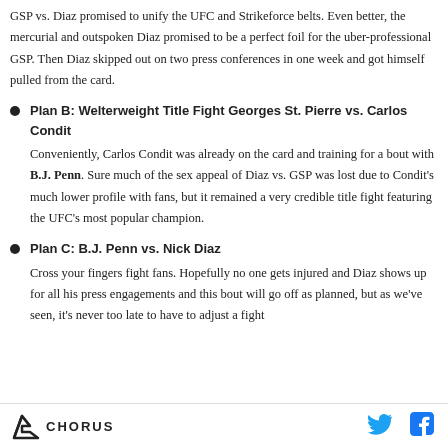GSP vs. Diaz promised to unify the UFC and Strikeforce belts. Even better, the mercurial and outspoken Diaz promised to be a perfect foil for the uber-professional GSP. Then Diaz skipped out on two press conferences in one week and got himself pulled from the card.
Plan B: Welterweight Title Fight Georges St. Pierre vs. Carlos Condit
Conveniently, Carlos Condit was already on the card and training for a bout with B.J. Penn. Sure much of the sex appeal of Diaz vs. GSP was lost due to Condit's much lower profile with fans, but it remained a very credible title fight featuring the UFC's most popular champion.
Plan C: B.J. Penn vs. Nick Diaz
Cross your fingers fight fans. Hopefully no one gets injured and Diaz shows up for all his press engagements and this bout will go off as planned, but as we've seen, it's never too late to have to adjust a fight
CHORUS